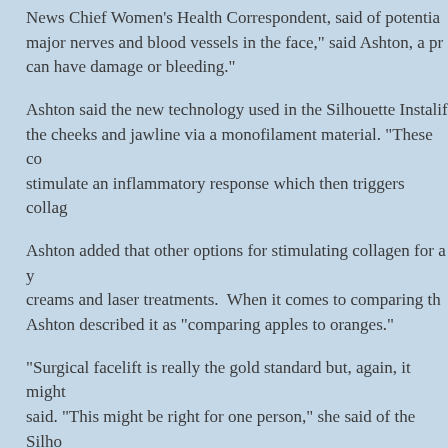News Chief Women's Health Correspondent, said of potential major nerves and blood vessels in the face,” said Ashton, a pr can have damage or bleeding.”
Ashton said the new technology used in the Silhouette Instalif the cheeks and jawline via a monofilament material. “These co stimulate an inflammatory response which then triggers collag
Ashton added that other options for stimulating collagen for a creams and laser treatments.  When it comes to comparing th Ashton described it as “comparing apples to oranges.”
“Surgical facelift is really the gold standard but, again, it might said. “This might be right for one person,” she said of the Silho
Everyday Living® at 5:00 AM    No comments:
Share
MONDAY, DECEMBER 19, 2016